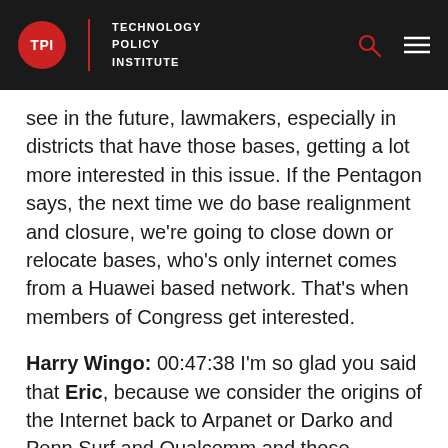TPI | TECHNOLOGY POLICY INSTITUTE
see in the future, lawmakers, especially in districts that have those bases, getting a lot more interested in this issue. If the Pentagon says, the next time we do base realignment and closure, we're going to close down or relocate bases, who's only internet comes from a Huawei based network. That's when members of Congress get interested.
Harry Wingo: 00:47:38 I'm so glad you said that Eric, because we consider the origins of the Internet back to Arpanet or Darko and Penn Surf and Qualcomm and those protocols. But how critical that was, implications were commanding control at the national level for absolutely the most important